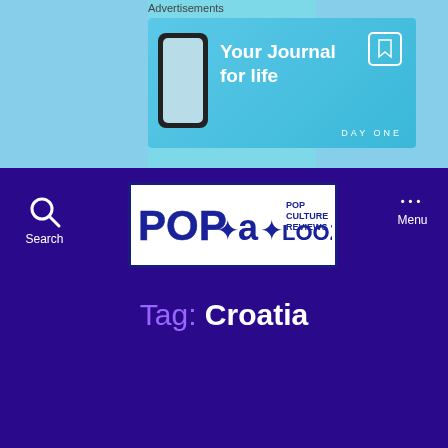Advertisements
[Figure (screenshot): Day One app advertisement banner: 'Your Journal for life' with app icon and phone mockup on blue background]
[Figure (logo): Pop-a-Looza Pop Culture Reviews logo in white text on dark blue border box]
Search
Menu
Tag: Croatia
WELCOME
Advertisements